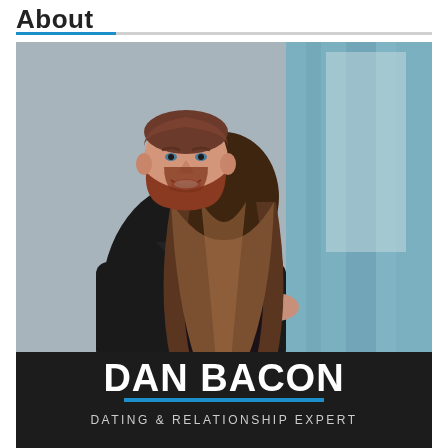About
[Figure (photo): A man with a red beard wearing a black leather jacket embracing a woman with long brown hair seen from behind, wearing a black outfit. Indoor setting with curtains in the background. Below the photo is a dark banner with 'DAN BACON' in large white bold text, a blue horizontal bar, and 'DATING & RELATIONSHIP EXPERT' in smaller white uppercase text.]